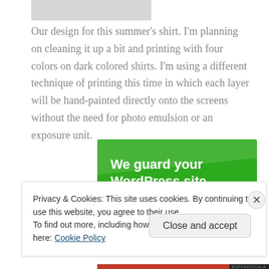[Figure (photo): Partial image at top of page, appears to be a cropped shirt or design photo, mostly gray]
Our design for this summer's shirt. I'm planning on cleaning it up a bit and printing with four colors on dark colored shirts. I'm using a different technique of printing this time in which each layer will be hand-painted directly onto the screens without the need for photo emulsion or an exposure unit.
[Figure (screenshot): Green advertisement banner reading 'We guard your WordPress site. You run your business.' on a bright green background]
Privacy & Cookies: This site uses cookies. By continuing to use this website, you agree to their use.
To find out more, including how to control cookies, see here: Cookie Policy
Close and accept